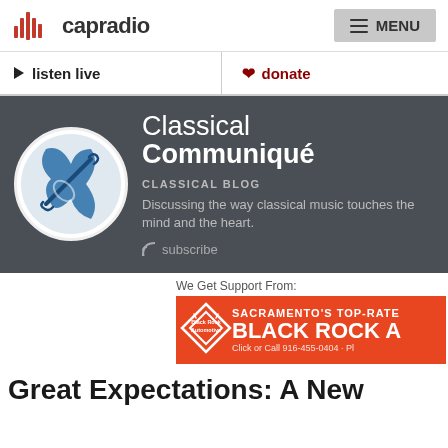capradio  MENU
listen live   donate
[Figure (illustration): Classical Communiqué blog banner with violin icon in circle, dark grey background. Blog title 'Classical Communiqué', subtitle 'CLASSICAL BLOG', description 'Discussing the way classical music touches the mind and the heart.', subscribe link.]
We Get Support From:
[Figure (screenshot): Black Rock Automotive advertisement banner in orange/red. Text: SACRAMENTO'S TOP-RATE, BLACK ROCK A, with Black Rock Automotive logo diamond shape.]
Great Expectations: A New